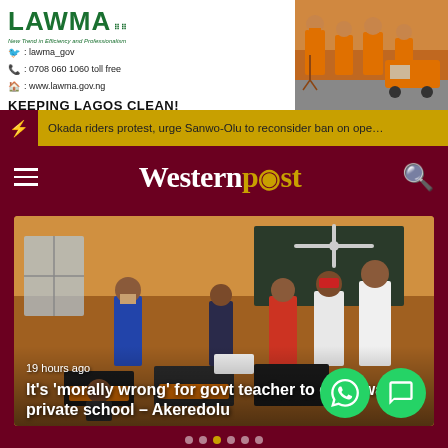[Figure (photo): LAWMA advertisement banner with logo, contact info, and workers in orange uniforms on right side]
Okada riders protest, urge Sanwo-Olu to reconsider ban on ope…
Western post
[Figure (photo): Classroom scene with government officials visiting, people standing around desks with computers. Text overlay: '19 hours ago' and headline 'It’s ‘morally wrong’ for govt teacher to enrol ward in private school – Akeredolu']
19 hours ago
It's ‘morally wrong’ for govt teacher to enrol ward in private school – Akeredolu